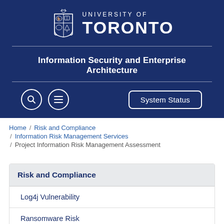[Figure (logo): University of Toronto crest and wordmark logo in white on dark navy blue background]
Information Security and Enterprise Architecture
System Status (button)
Home / Risk and Compliance / Information Risk Management Services / Project Information Risk Management Assessment
Risk and Compliance
Log4j Vulnerability
Ransomware Risk